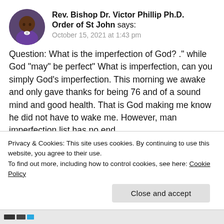[Figure (photo): Circular avatar photo of a man wearing a purple clerical shirt, appears to be an older Black man]
Rev. Bishop Dr. Victor Phillip Ph.D. Order of St John says: October 15, 2021 at 1:43 pm
Question: What is the imperfection of God? ." while God “may” be perfect" What is imperfection, can you simply God’s imperfection. This morning we awake and only gave thanks for being 76 and of a sound mind and good health. That is God making me know he did not have to wake me. However, man imperfection list has no end.
Privacy & Cookies: This site uses cookies. By continuing to use this website, you agree to their use.
To find out more, including how to control cookies, see here: Cookie Policy
Close and accept